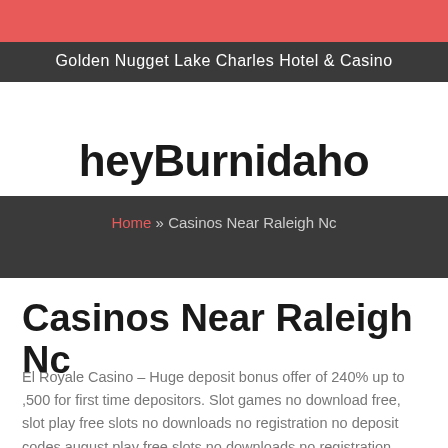Golden Nugget Lake Charles Hotel & Casino
heyBurnidaho
Home » Casinos Near Raleigh Nc
Casinos Near Raleigh Nc
El Royale Casino – Huge deposit bonus offer of 240% up to ,500 for first time depositors. Slot games no download free, slot play free slots no downloads no registration no deposit codes august play free slots no downloads no registration